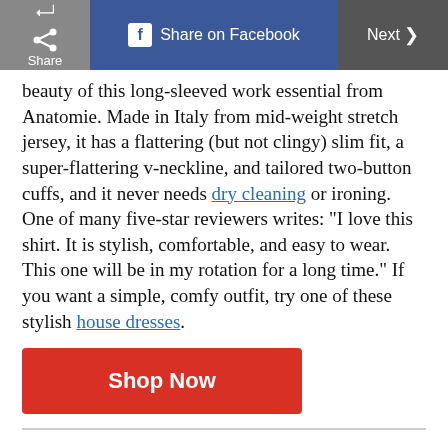[Figure (screenshot): Top navigation bar with Share button, Share on Facebook button, and Next button]
beauty of this long-sleeved work essential from Anatomie. Made in Italy from mid-weight stretch jersey, it has a flattering (but not clingy) slim fit, a super-flattering v-neckline, and tailored two-button cuffs, and it never needs dry cleaning or ironing. One of many five-star reviewers writes: “I love this shirt. It is stylish, comfortable, and easy to wear. This one will be in my rotation for a long time.” If you want a simple, comfy outfit, try one of these stylish house dresses.
[Figure (other): Red Shop Now button]